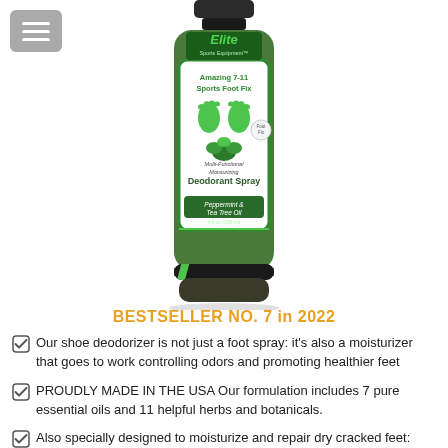[Figure (photo): Product photo of Elite Sports Equipment Amazing 7-11 Sports Foot Fix Multi-Functional Moisturizing Deodorant Spray with Peppermint & Tea Tree Oil, 4 fl oz (120ml). Green spray bottle with white label showing green foot prints.]
BESTSELLER NO. 7 in 2022
Our shoe deodorizer is not just a foot spray: it's also a moisturizer that goes to work controlling odors and promoting healthier feet
PROUDLY MADE IN THE USA Our formulation includes 7 pure essential oils and 11 helpful herbs and botanicals.
Also specially designed to moisturize and repair dry cracked feet: you'll also notice an icy sensation as it soothes hydrates and cools